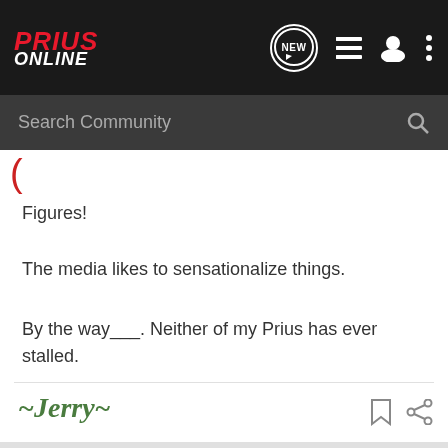Prius Online
Figures!
The media likes to sensationalize things.
By the way___. Neither of my Prius has ever stalled.
~Jerry~